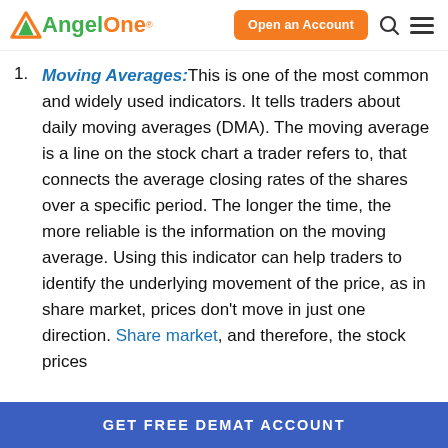AngelOne — Open an Account
Moving Averages: This is one of the most common and widely used indicators. It tells traders about daily moving averages (DMA). The moving average is a line on the stock chart a trader refers to, that connects the average closing rates of the shares over a specific period. The longer the time, the more reliable is the information on the moving average. Using this indicator can help traders to identify the underlying movement of the price, as in share market, prices don't move in just one direction. Share market, and therefore, the stock prices
GET FREE DEMAT ACCOUNT